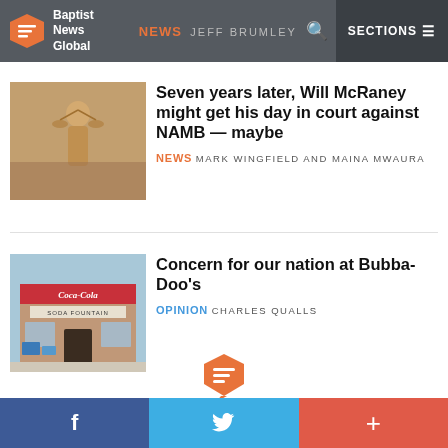Baptist News Global | NEWS JEFF BRUMLEY | SECTIONS
[Figure (photo): Lady justice statue, golden scales, blurred background]
Seven years later, Will McRaney might get his day in court against NAMB — maybe
NEWS MARK WINGFIELD AND MAINA MWAURA
[Figure (photo): Coca-Cola soda fountain shop exterior with signage]
Concern for our nation at Bubba-Doo's
OPINION CHARLES QUALLS
[Figure (logo): Baptist News Global orange speech bubble logo]
f  twitter  +